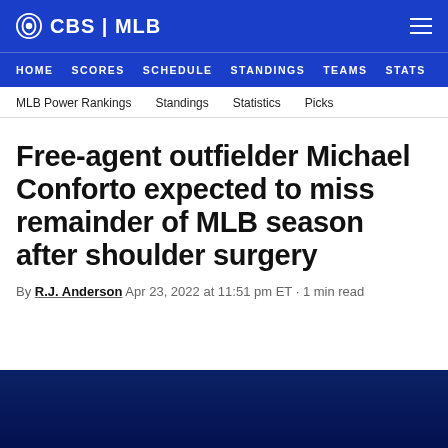CBS | MLB
HOME  SCORES  SCHEDULE  STANDINGS  TEAMS  STATS
MLB Power Rankings  Standings  Statistics  Picks
Free-agent outfielder Michael Conforto expected to miss remainder of MLB season after shoulder surgery
By R.J. Anderson  Apr 23, 2022 at 11:51 pm ET · 1 min read